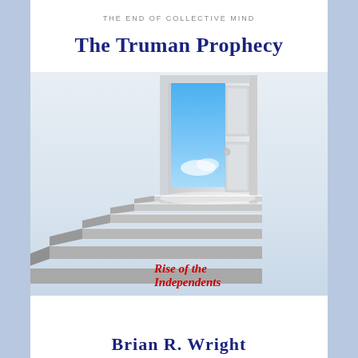THE END OF COLLECTIVE MIND
The Truman Prophecy
[Figure (illustration): Illustration of a white open door at the top of gray stone stairs, with a bright blue sky and white clouds visible through the doorway, on a white/light gray gradient background]
Rise of the Independents
Brian R. Wright